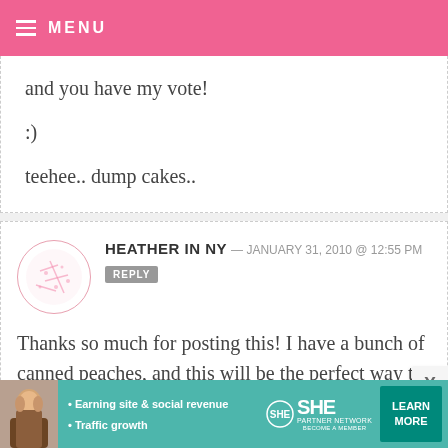MENU
and you have my vote!

:)

teehee.. dump cakes..
HEATHER IN NY — JANUARY 31, 2010 @ 12:55 PM REPLY
Thanks so much for posting this! I have a bunch of canned peaches, and this will be the perfect way to use them up!
[Figure (infographic): SHE Partner Network advertisement banner with photo of woman, bullet points about earning site & social revenue and traffic growth, SHE logo, and LEARN MORE button]